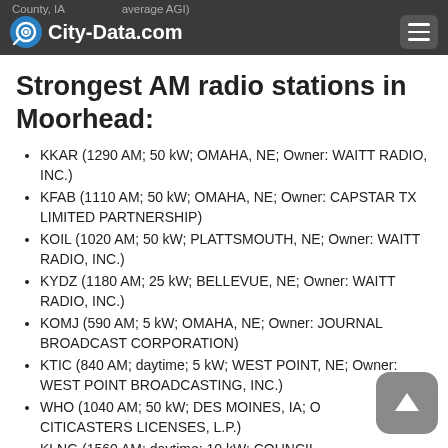County, IA  average AGI)
Strongest AM radio stations in Moorhead:
KKAR (1290 AM; 50 kW; OMAHA, NE; Owner: WAITT RADIO, INC.)
KFAB (1110 AM; 50 kW; OMAHA, NE; Owner: CAPSTAR TX LIMITED PARTNERSHIP)
KOIL (1020 AM; 50 kW; PLATTSMOUTH, NE; Owner: WAITT RADIO, INC.)
KYDZ (1180 AM; 25 kW; BELLEVUE, NE; Owner: WAITT RADIO, INC.)
KOMJ (590 AM; 5 kW; OMAHA, NE; Owner: JOURNAL BROADCAST CORPORATION)
KTIC (840 AM; daytime; 5 kW; WEST POINT, NE; Owner: WEST POINT BROADCASTING, INC.)
WHO (1040 AM; 50 kW; DES MOINES, IA; Owner: CITICASTERS LICENSES, L.P.)
KLNG (1560 AM; daytime; 10 kW; COUNCIL